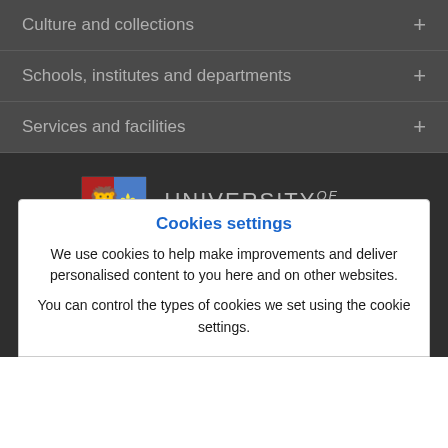Culture and collections +
Schools, institutes and departments +
Services and facilities +
[Figure (logo): University of Birmingham shield logo with red, blue, and gold quarters featuring a lion rampant and open book, alongside the text UNIVERSITY OF BIRMINGHAM]
Edgbaston
Birmingham B15 2TT
United Kingdom
Cookies settings
We use cookies to help make improvements and deliver personalised content to you here and on other websites.
You can control the types of cookies we set using the cookie settings.